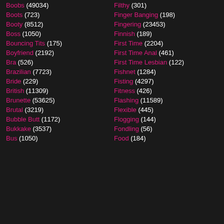Boobs (49034)
Boots (723)
Booty (8512)
Boss (1050)
Bouncing Tits (175)
Boyfriend (2192)
Bra (526)
Brazilian (7723)
Bride (229)
British (11309)
Brunette (53625)
Brutal (3219)
Bubble Butt (1172)
Bukkake (3537)
Bus (1050)
Filthy (301)
Finger Banging (198)
Fingering (23453)
Finnish (189)
First Time (2204)
First Time Anal (461)
First Time Lesbian (122)
Fishnet (1284)
Fisting (4297)
Fitness (426)
Flashing (11589)
Flexible (445)
Flogging (144)
Fondling (56)
Food (184)